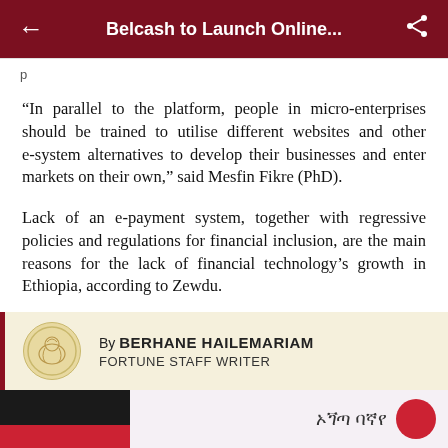Belcash to Launch Online...
“In parallel to the platform, people in micro-enterprises should be trained to utilise different websites and other e-system alternatives to develop their businesses and enter markets on their own,” said Mesfin Fikre (PhD).
Lack of an e-payment system, together with regressive policies and regulations for financial inclusion, are the main reasons for the lack of financial technology’s growth in Ethiopia, according to Zewdu.
By BERHANE HAILEMARIAM FORTUNE STAFF WRITER